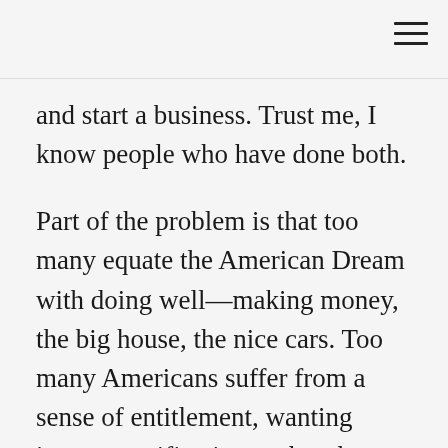and start a business. Trust me, I know people who have done both.
Part of the problem is that too many equate the American Dream with doing well—making money, the big house, the nice cars. Too many Americans suffer from a sense of entitlement, wanting instant gratification, rather than paying their dues. They envy someone running a business, who has two cars and a trophy wife. You don't see the